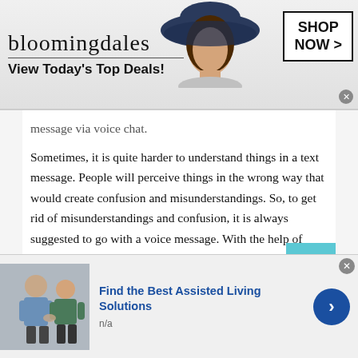[Figure (screenshot): Bloomingdales advertisement banner: logo text 'bloomingdales', tagline 'View Today's Top Deals!', model with large hat, SHOP NOW > button]
message via voice chat.
Sometimes, it is quite harder to understand things in a text message. People will perceive things in the wrong way that would create confusion and misunderstandings. So, to get rid of misunderstandings and confusion, it is always suggested to go with a voice message. With the help of using random voice chat, you can better convey your message. Because the other person can hear you clearly and of course, understand what you
[Figure (screenshot): Bottom advertisement: 'Find the Best Assisted Living Solutions', n/a, with image of elderly person and caregiver, blue arrow button]